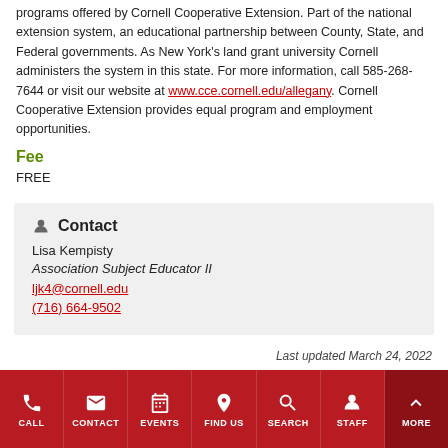programs offered by Cornell Cooperative Extension. Part of the national extension system, an educational partnership between County, State, and Federal governments. As New York's land grant university Cornell administers the system in this state. For more information, call 585-268-7644 or visit our website at www.cce.cornell.edu/allegany. Cornell Cooperative Extension provides equal program and employment opportunities.
Fee
FREE
Contact
Lisa Kempisty
Association Subject Educator II
ljk4@cornell.edu
(716) 664-9502
Last updated March 24, 2022
CALL | CONTACT | EVENTS | FIND US | SEARCH | STAFF | MORE